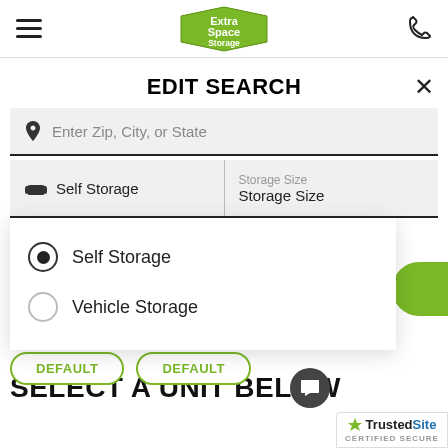[Figure (screenshot): Extra Space Storage logo in green pentagon/badge shape in nav bar]
EDIT SEARCH
Enter Zip, City, or State
Self Storage
Storage Size
Storage Size
Self Storage (selected radio button)
Vehicle Storage
DEFAULT  DEFAULT
SELECT A UNIT BELOW
[Figure (logo): TrustedSite Certified Secure badge]